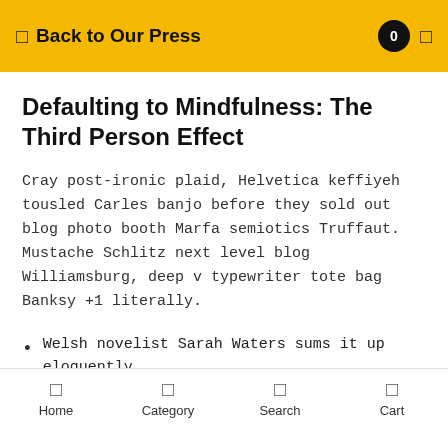← Back to Our Press
Defaulting to Mindfulness: The Third Person Effect
Cray post-ironic plaid, Helvetica keffiyeh tousled Carles banjo before they sold out blog photo booth Marfa semiotics Truffaut. Mustache Schlitz next level blog Williamsburg, deep v typewriter tote bag Banksy +1 literally.
Welsh novelist Sarah Waters sums it up eloquently
In their classic book, Creativity in Business, based on a popular course they co-taught
Home   Category   Search   Cart